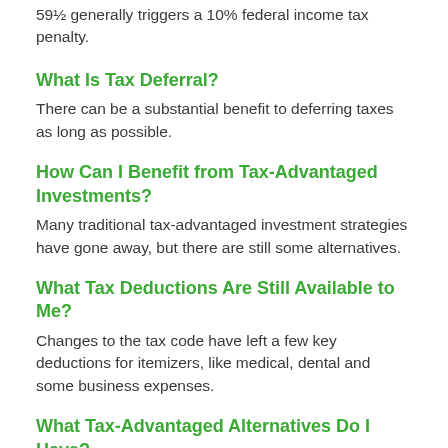59½ generally triggers a 10% federal income tax penalty.
What Is Tax Deferral?
There can be a substantial benefit to deferring taxes as long as possible.
How Can I Benefit from Tax-Advantaged Investments?
Many traditional tax-advantaged investment strategies have gone away, but there are still some alternatives.
What Tax Deductions Are Still Available to Me?
Changes to the tax code have left a few key deductions for itemizers, like medical, dental and some business expenses.
What Tax-Advantaged Alternatives Do I Have?
While stable, CDs can create an income tax bill. Fixed annuities and municipal bonds can offer tax advantages.